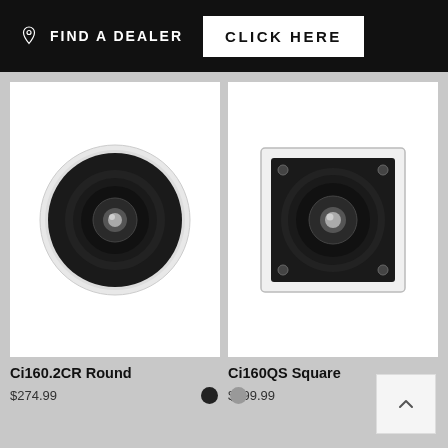FIND A DEALER  CLICK HERE
[Figure (photo): Ci160.2CR Round in-ceiling speaker, circular black driver with white surround, viewed from front]
Ci160.2CR Round
$274.99
[Figure (photo): Ci160QS Square in-wall speaker, square black driver with white frame, viewed from front]
Ci160QS Square
$399.99